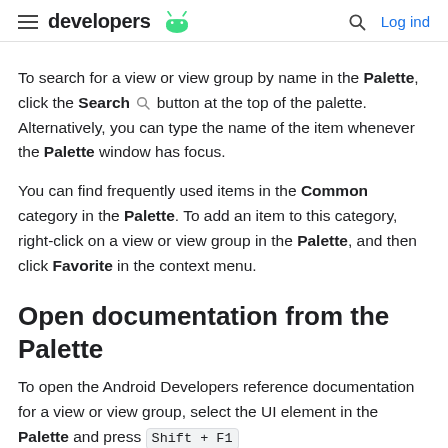developers  [android logo]   [search]  Log ind
To search for a view or view group by name in the Palette, click the Search [icon] button at the top of the palette. Alternatively, you can type the name of the item whenever the Palette window has focus.
You can find frequently used items in the Common category in the Palette. To add an item to this category, right-click on a view or view group in the Palette, and then click Favorite in the context menu.
Open documentation from the Palette
To open the Android Developers reference documentation for a view or view group, select the UI element in the Palette and press Shift + F1